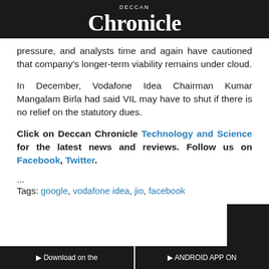DECCAN Chronicle
pressure, and analysts time and again have cautioned that company's longer-term viability remains under cloud.
In December, Vodafone Idea Chairman Kumar Mangalam Birla had said VIL may have to shut if there is no relief on the statutory dues.
Click on Deccan Chronicle Technology and Science for the latest news and reviews. Follow us on Facebook, Twitter.
...
Tags: google, vodafone idea, jio, facebook
Download on the | ANDROID APP ON